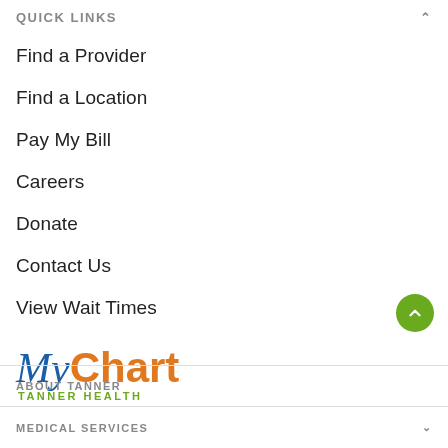QUICK LINKS
Find a Provider
Find a Location
Pay My Bill
Careers
Donate
Contact Us
View Wait Times
[Figure (logo): MyChart Tanner Health logo — 'My' in blue italic serif font, 'Chart' in orange bold sans-serif, 'TANNER HEALTH' in green uppercase below]
ABOUT TANNER
MEDICAL SERVICES